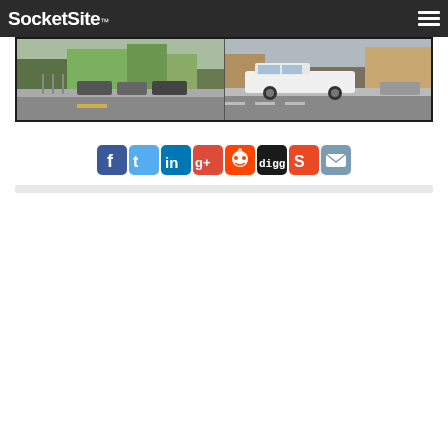SocketSite
[Figure (photo): Street scene showing two side-by-side photos of an urban intersection with parked cars and a white pickup truck on the street, with green and brown buildings in background]
[Figure (infographic): Social media sharing icons row: Facebook, Twitter, LinkedIn, Google+, Reddit, Digg, StumbleUpon, Email]